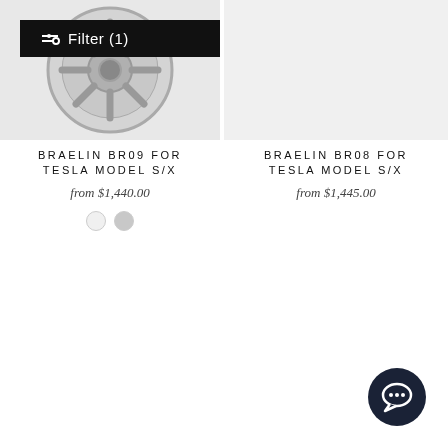[Figure (screenshot): Wheel product image for Braelin BR09 for Tesla Model S/X, partially visible, with Filter (1) button overlay on black background]
BRAELIN BR09 FOR TESLA MODEL S/X
from $1,440.00
BRAELIN BR08 FOR TESLA MODEL S/X
from $1,445.00
[Figure (illustration): Chat button widget in dark navy, circular with speech bubble icon, bottom right corner]